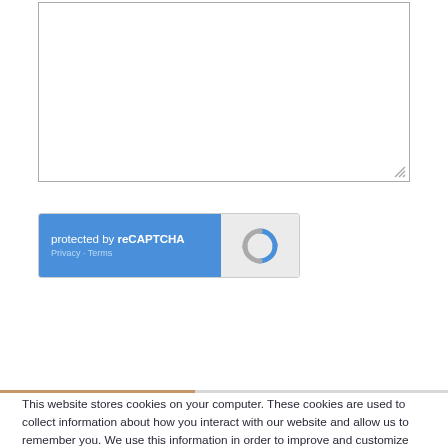[Figure (screenshot): Text input textarea box with resize handle in bottom-right corner]
[Figure (screenshot): reCAPTCHA widget with blue left panel showing 'protected by reCAPTCHA' text with Privacy and Terms links, and grey right panel with reCAPTCHA logo]
This website stores cookies on your computer. These cookies are used to collect information about how you interact with our website and allow us to remember you. We use this information in order to improve and customize your browsing experience and for analytics and metrics about our visitors both on this website and other media. To find out more about the cookies we use, see our Privacy Policy.
If you decline, your information won't be tracked when you visit this website. A single cookie will be used in your browser to remember your preference not to be tracked.
[Figure (screenshot): Accept button (teal/green filled) and Decline button (teal outline) side by side]